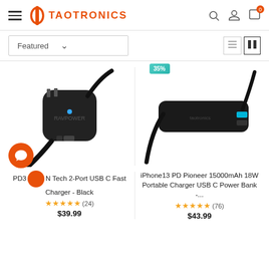TaoTronics navigation header with hamburger menu, logo, search, account, and cart icons
Featured ∨
[Figure (photo): RAVPower PD charger black USB-C wall charger with cable]
[Figure (photo): TaoTronics portable battery bank 15000mAh with USB-C cable, 35% discount badge]
PD3... N Tech 2-Port USB C Fast Charger - Black
★★★★★ (24)
$39.99
iPhone13 PD Pioneer 15000mAh 18W Portable Charger USB C Power Bank -...
★★★★★ (76)
$43.99